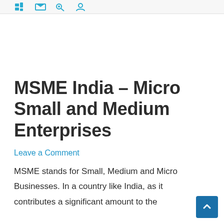Navigation icons bar
MSME India – Micro Small and Medium Enterprises
Leave a Comment
MSME stands for Small, Medium and Micro Businesses. In a country like India, as it contributes a significant amount to the